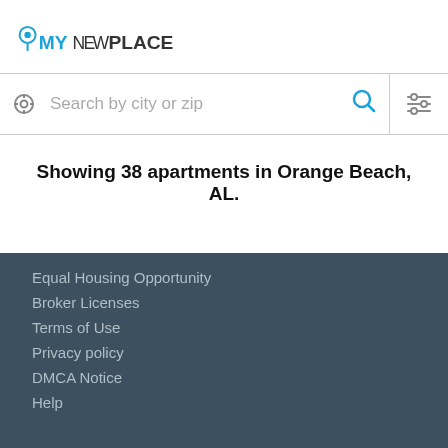[Figure (logo): MyNewPlace logo with location pin icon]
[Figure (screenshot): Search bar with location icon, placeholder text 'Search by city or zip', magnifying glass icon, and filter icon]
Showing 38 apartments in Orange Beach, AL.
Equal Housing Opportunity
Broker Licenses
Terms of Use
Privacy policy
DMCA Notice
Help